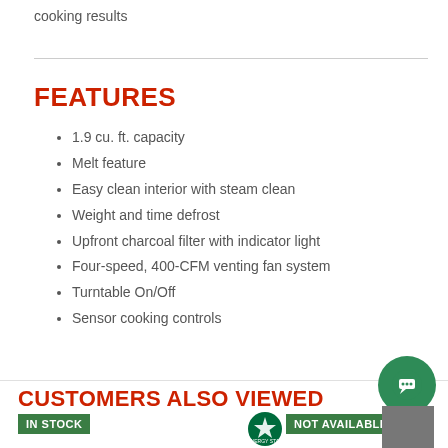cooking results
FEATURES
1.9 cu. ft. capacity
Melt feature
Easy clean interior with steam clean
Weight and time defrost
Upfront charcoal filter with indicator light
Four-speed, 400-CFM venting fan system
Turntable On/Off
Sensor cooking controls
CUSTOMERS ALSO VIEWED
IN STOCK
NOT AVAILABLE